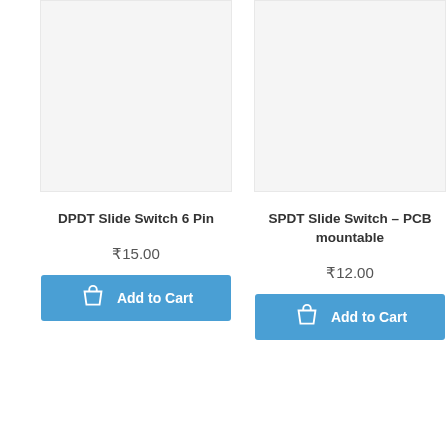[Figure (photo): Product image placeholder for DPDT Slide Switch 6 Pin, light gray background]
DPDT Slide Switch 6 Pin
₹15.00
Add to Cart
[Figure (photo): Product image placeholder for SPDT Slide Switch - PCB mountable, light gray background]
SPDT Slide Switch - PCB mountable
₹12.00
Add to Cart